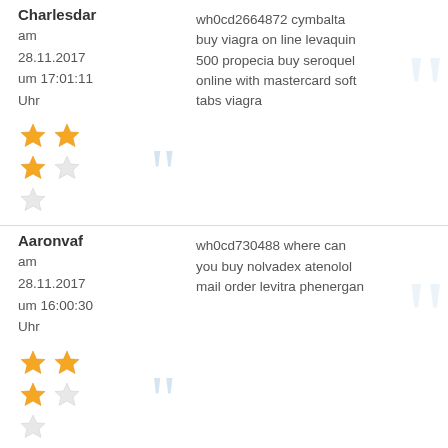Charlesdar
am
28.11.2017
um 17:01:11
Uhr
wh0cd2664872 cymbalta buy viagra on line levaquin 500 propecia buy seroquel online with mastercard soft tabs viagra
Aaronvaf
am
28.11.2017
um 16:00:30
Uhr
wh0cd730488 where can you buy nolvadex atenolol mail order levitra phenergan
JoejoirE
am
28.11.2017